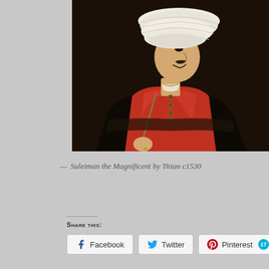[Figure (photo): Portrait painting of Suleiman the Magnificent wearing a large white turban and red robe, holding a staff, painted by Titian circa 1530. Dark background, three-quarter profile view.]
— Suleiman the Magnificent by Titian c1530
Share this:
Facebook
Twitter
Pinterest 17